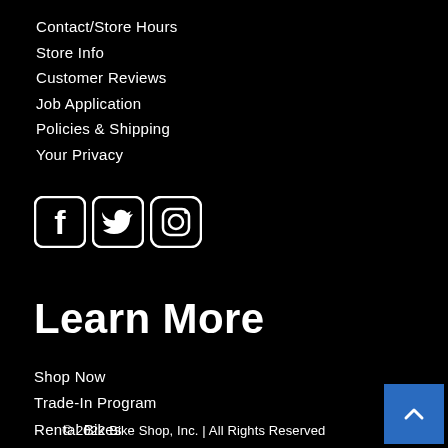Contact/Store Hours
Store Info
Customer Reviews
Job Application
Policies & Shipping
Your Privacy
[Figure (infographic): Social media icons: Facebook, Twitter, Instagram]
Learn More
Shop Now
Trade-In Program
Rental Bikes
© 2022 Bike Shop, Inc. | All Rights Reserved